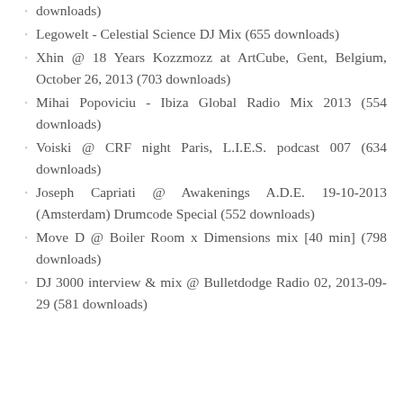downloads)
Legowelt - Celestial Science DJ Mix (655 downloads)
Xhin @ 18 Years Kozzmozz at ArtCube, Gent, Belgium, October 26, 2013 (703 downloads)
Mihai Popoviciu - Ibiza Global Radio Mix 2013 (554 downloads)
Voiski @ CRF night Paris, L.I.E.S. podcast 007 (634 downloads)
Joseph Capriati @ Awakenings A.D.E. 19-10-2013 (Amsterdam) Drumcode Special (552 downloads)
Move D @ Boiler Room x Dimensions mix [40 min] (798 downloads)
DJ 3000 interview & mix @ Bulletdodge Radio 02, 2013-09-29 (581 downloads)